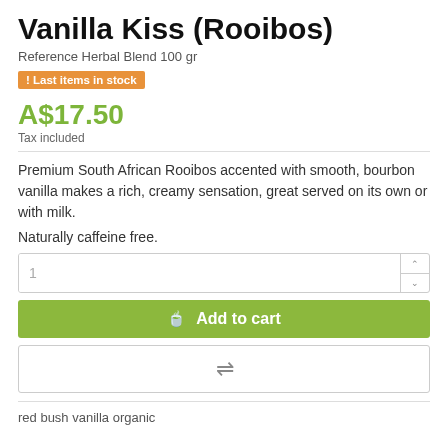Vanilla Kiss (Rooibos)
Reference Herbal Blend 100 gr
! Last items in stock
A$17.50
Tax included
Premium South African Rooibos accented with smooth, bourbon vanilla makes a rich, creamy sensation, great served on its own or with milk.
Naturally caffeine free.
1
Add to cart
red bush vanilla organic